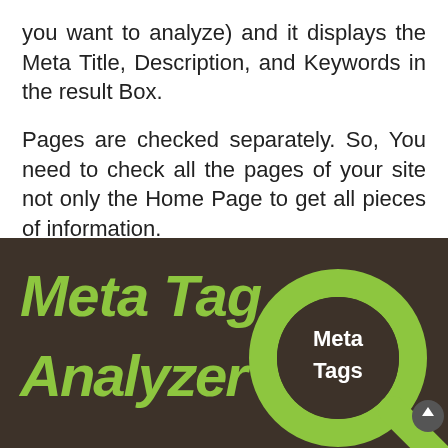you want to analyze) and it displays the Meta Title, Description, and Keywords in the result Box.
Pages are checked separately. So, You need to check all the pages of your site not only the Home Page to get all pieces of information.
[Figure (illustration): Dark brown background graphic showing 'Meta Tag Analyzer' text in large bold green italic font on the left, and a large magnifying glass icon in green on the right with 'Meta Tags' text inside the lens circle in white bold font.]